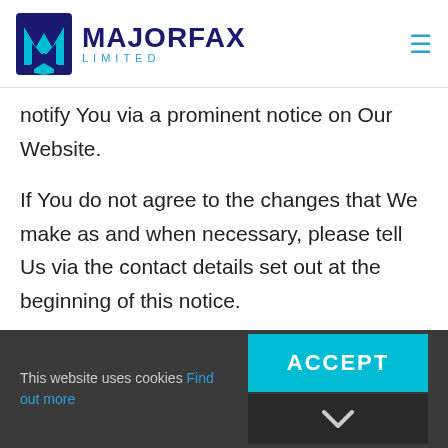[Figure (logo): Majorfax Limited logo with blue geometric M icon and dark blue MAJORFAX text with teal LIMITED subtitle]
notify You via a prominent notice on Our Website.
If You do not agree to the changes that We make as and when necessary, please tell Us via the contact details set out at the beginning of this notice.
Last updated on 27/5/19.
This website uses cookies Find out more ACCEPT